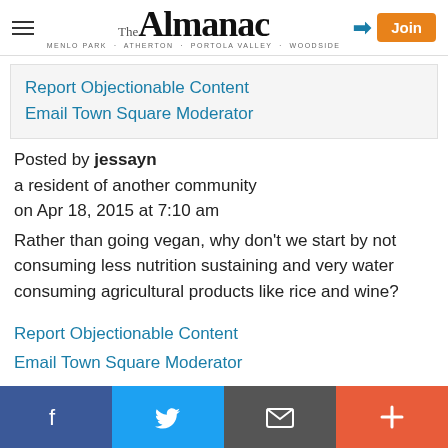The Almanac — MENLO PARK · ATHERTON · PORTOLA VALLEY · WOODSIDE
Report Objectionable Content
Email Town Square Moderator
Posted by jessayn
a resident of another community
on Apr 18, 2015 at 7:10 am
Rather than going vegan, why don't we start by not consuming less nutrition sustaining and very water consuming agricultural products like rice and wine?
Report Objectionable Content
Email Town Square Moderator